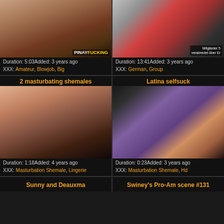[Figure (photo): Video thumbnail showing adult content with PINAYFUCKING watermark]
Duration: 5:03Added: 3 years ago
XXX: Amateur, Blowjob, Big
[Figure (photo): Video thumbnail showing adult content with fishnet stockings and German site watermark]
Duration: 13:41Added: 3 years ago
XXX: German, Group
2 masturbating shemales
[Figure (photo): Video thumbnail showing adult content]
Duration: 1:18Added: 4 years ago
XXX: Masturbation Shemale, Lingerie
Latina selfsuck
[Figure (photo): Video thumbnail showing adult content]
Duration: 0:23Added: 3 years ago
XXX: Masturbation Shemale, Hd
Sunny and Deauxma
Swiney's Pro-Am scene #131